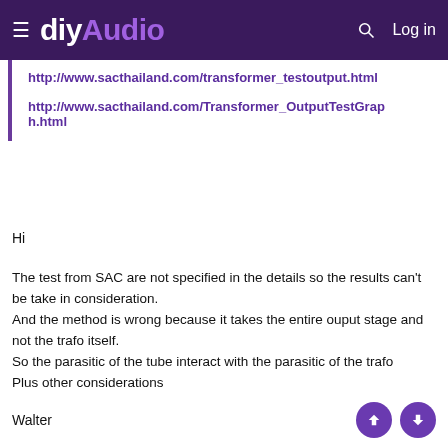diyAudio  Log in
http://www.sacthailand.com/transformer_testoutput.html

http://www.sacthailand.com/Transformer_OutputTestGraph.html
Hi
The test from SAC are not specified in the details so the results can't be take in consideration.
And the method is wrong because it takes the entire ouput stage and not the trafo itself.
So the parasitic of the tube interact with the parasitic of the trafo
Plus other considerations
Walter